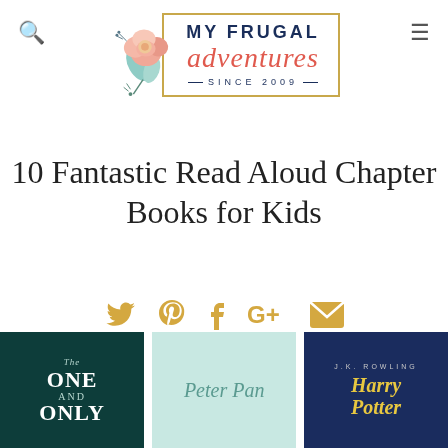My Frugal Adventures – Since 2009 (logo header with search and menu icons)
10 Fantastic Read Aloud Chapter Books for Kids
[Figure (infographic): Social sharing icons: Twitter, Pinterest, Facebook, Google+, Email — all in gold/yellow color]
[Figure (photo): Three book covers in a row: 'The One and Only' (dark teal background), 'Peter Pan' (mint background), 'Harry Potter' (dark blue background with J.K. Rowling text)]